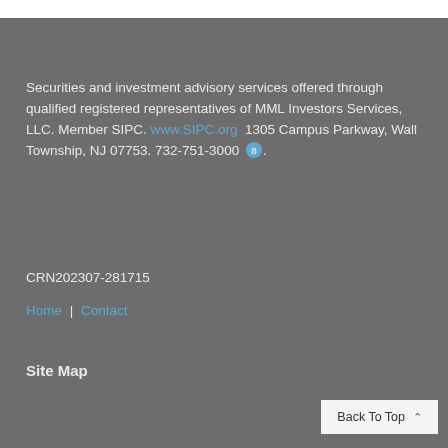Securities and investment advisory services offered through qualified registered representatives of MML Investors Services, LLC. Member SIPC. www.SIPC.org  1305 Campus Parkway, Wall Township, NJ 07753. 732-751-3000.
CRN202307-281715
Home | Contact
Site Map
Back To Top